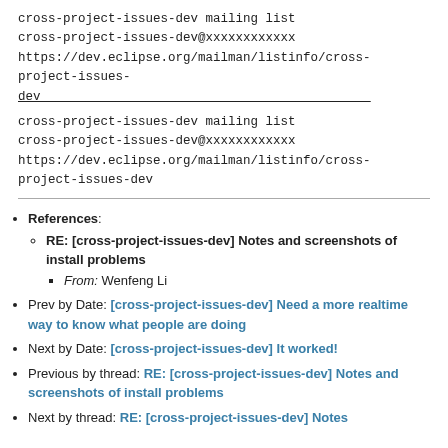cross-project-issues-dev mailing list
cross-project-issues-dev@xxxxxxxxxxxx
https://dev.eclipse.org/mailman/listinfo/cross-project-issues-dev_____________________________________________
cross-project-issues-dev mailing list
cross-project-issues-dev@xxxxxxxxxxxx
https://dev.eclipse.org/mailman/listinfo/cross-project-issues-dev
References:
RE: [cross-project-issues-dev] Notes and screenshots of install problems
From: Wenfeng Li
Prev by Date: [cross-project-issues-dev] Need a more realtime way to know what people are doing
Next by Date: [cross-project-issues-dev] It worked!
Previous by thread: RE: [cross-project-issues-dev] Notes and screenshots of install problems
Next by thread: RE: [cross-project-issues-dev] Notes